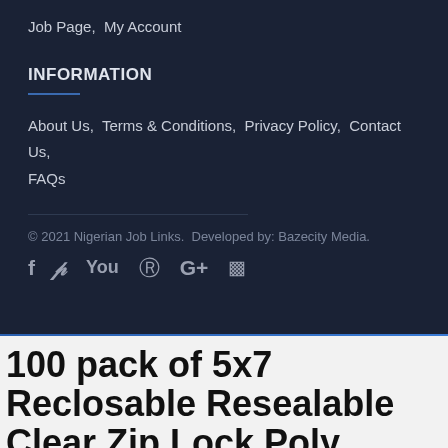Job Page,  My Account
INFORMATION
About Us,  Terms & Conditions,  Privacy Policy,  Contact Us,  FAQs
© 2021 Nigerian Job Links.  Developed by: Bazecity Media.
100 pack of 5x7 Reclosable Resealable Clear Zip Lock Poly Plastic Bags 2 Mil